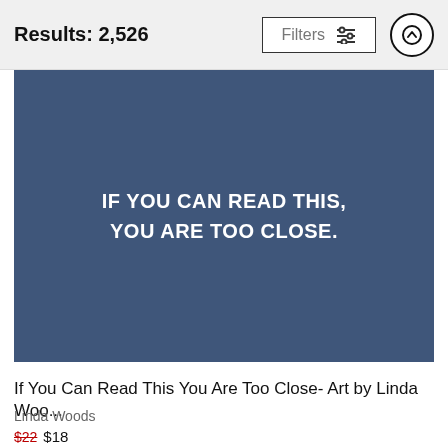Results: 2,526
[Figure (illustration): Blue book cover with white bold text reading: IF YOU CAN READ THIS, YOU ARE TOO CLOSE.]
If You Can Read This You Are Too Close- Art by Linda Woo...
Linda Woods
$22 $18